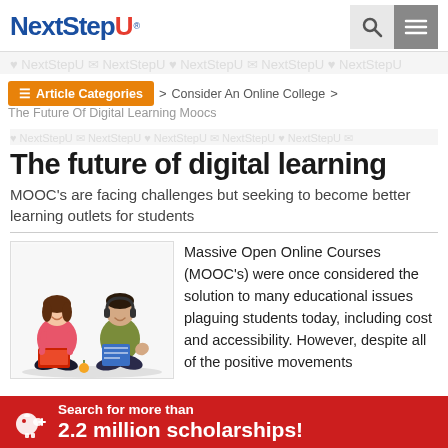NextStepU™
Article Categories > Consider An Online College > The Future Of Digital Learning Moocs
The future of digital learning
MOOC's are facing challenges but seeking to become better learning outlets for students
[Figure (photo): Two students sitting on the floor, one with a laptop and one with a book/tablet]
Massive Open Online Courses (MOOC's) were once considered the solution to many educational issues plaguing students today, including cost and accessibility. However, despite all of the positive movements
Search for more than 2.2 million scholarships!